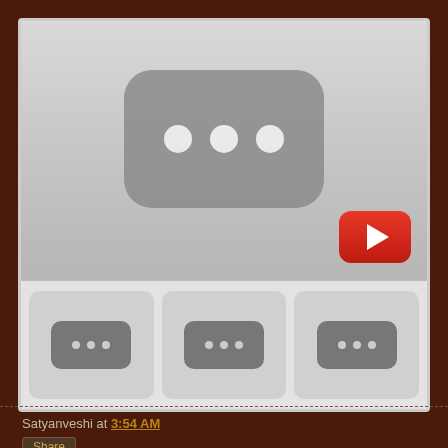[Figure (screenshot): YouTube embedded video player placeholder showing a dark rounded rectangle with three white dots and a red YouTube play button in the bottom right corner, plus three thumbnail placeholders below each with a small gray icon showing three dots.]
Satyanveshi at 3:54 AM
Share